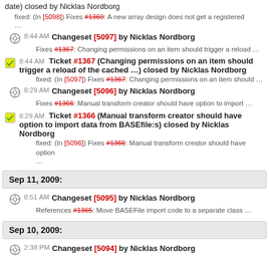date) closed by Nicklas Nordborg
fixed: (In [5098]) Fixes #1369: A new array design does not get a registered ...
8:44 AM Changeset [5097] by Nicklas Nordborg
Fixes #1367: Changing permissions on an item should trigger a reload ...
8:44 AM Ticket #1367 (Changing permissions on an item should trigger a reload of the cached ...) closed by Nicklas Nordborg
fixed: (In [5097]) Fixes #1367: Changing permissions on an item should ...
8:29 AM Changeset [5096] by Nicklas Nordborg
Fixes #1366: Manual transform creator should have option to import ...
8:29 AM Ticket #1366 (Manual transform creator should have option to import data from BASEfile:s) closed by Nicklas Nordborg
fixed: (In [5096]) Fixes #1366: Manual transform creator should have option ...
Sep 11, 2009:
8:51 AM Changeset [5095] by Nicklas Nordborg
References #1365: Move BASEFile import code to a separate class ...
Sep 10, 2009:
2:38 PM Changeset [5094] by Nicklas Nordborg